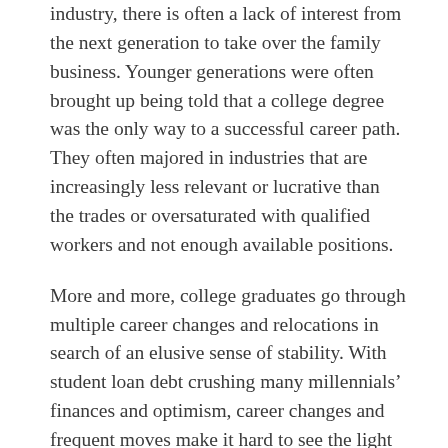industry, there is often a lack of interest from the next generation to take over the family business. Younger generations were often brought up being told that a college degree was the only way to a successful career path. They often majored in industries that are increasingly less relevant or lucrative than the trades or oversaturated with qualified workers and not enough available positions.
More and more, college graduates go through multiple career changes and relocations in search of an elusive sense of stability. With student loan debt crushing many millennials’ finances and optimism, career changes and frequent moves make it hard to see the light at the end of the tunnel. Some people from the younger generations eventually find their way to the trades through a circuitous path. While it is wonderful how college graduates are returning to college, vocational school, or becoming apprentices in the skilled trades, a more direct path would lead to faster success, financial security, and both professional and personal growth. Making young people